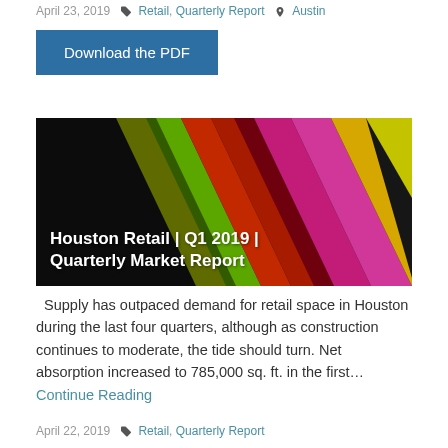April 23, 2019  🏷 Retail, Quarterly Report  📍 Austin
Download the PDF
[Figure (photo): Colorful shopping bags fanned out, with overlaid text: Houston Retail | Q1 2019 | Quarterly Market Report]
Supply has outpaced demand for retail space in Houston during the last four quarters, although as construction continues to moderate, the tide should turn. Net absorption increased to 785,000 sq. ft. in the first… Continue Reading
April 22, 2019  🏷 Retail, Quarterly Report